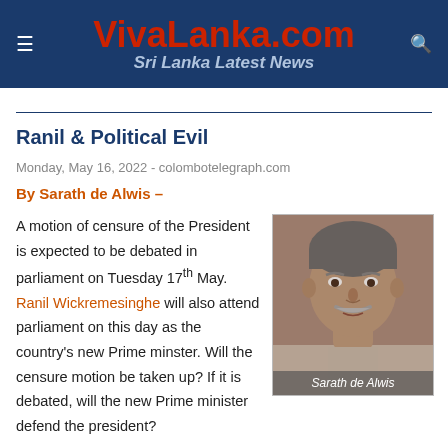VivaLanka.com — Sri Lanka Latest News
Ranil & Political Evil
Monday, May 16, 2022 - colombotelegraph.com
By Sarath de Alwis –
A motion of censure of the President is expected to be debated in parliament on Tuesday 17th May. Ranil Wickremesinghe will also attend parliament on this day as the country's new Prime minster. Will the censure motion be taken up? If it is debated, will the new Prime minister defend the president?
[Figure (photo): Headshot photo of Sarath de Alwis, an older South Asian man with a grey moustache, wearing a light-colored shirt. Caption reads 'Sarath de Alwis'.]